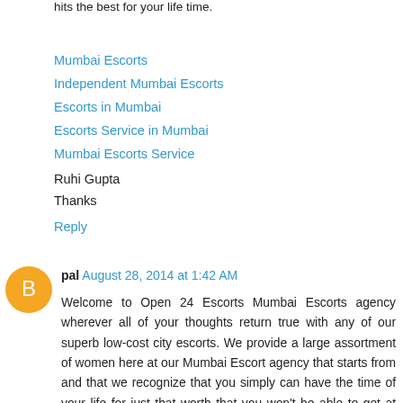hits the best for your life time.
Mumbai Escorts
Independent Mumbai Escorts
Escorts in Mumbai
Escorts Service in Mumbai
Mumbai Escorts Service
Ruhi Gupta
Thanks
Reply
pal  August 28, 2014 at 1:42 AM
Welcome to Open 24 Escorts Mumbai Escorts agency wherever all of your thoughts return true with any of our superb low-cost city escorts. We provide a large assortment of women here at our Mumbai Escort agency that starts from and that we recognize that you simply can have the time of your life for just that worth that you won't be able to get at the other High Escorts agency to the common that we offer.